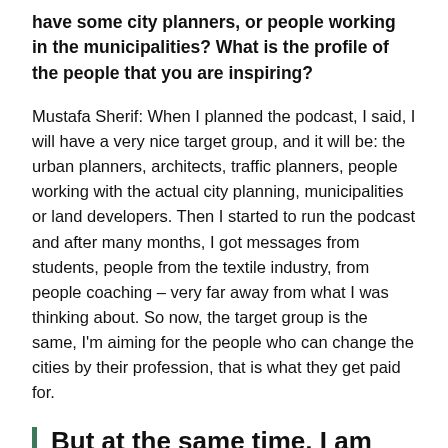have some city planners, or people working in the municipalities? What is the profile of the people that you are inspiring?
Mustafa Sherif: When I planned the podcast, I said, I will have a very nice target group, and it will be: the urban planners, architects, traffic planners, people working with the actual city planning, municipalities or land developers. Then I started to run the podcast and after many months, I got messages from students, people from the textile industry, from people coaching – very far away from what I was thinking about. So now, the target group is the same, I'm aiming for the people who can change the cities by their profession, that is what they get paid for.
But at the same time, I am also